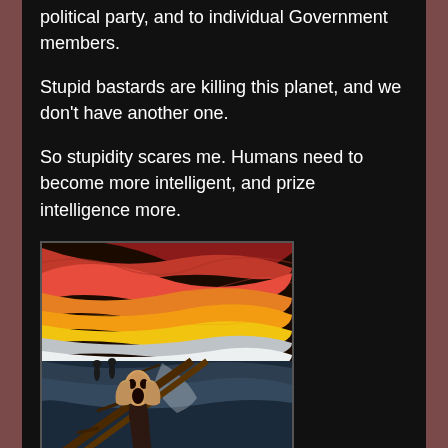political party, and to individual Government members.
Stupid bastards are killing this planet, and we don't have another one.
So stupidity scares me. Humans need to become more intelligent, and prize intelligence more.
[Figure (illustration): The Scream by Edvard Munch — a figure with hands on face screaming on a bridge, with a swirling red and orange sky background and two figures in the distance]